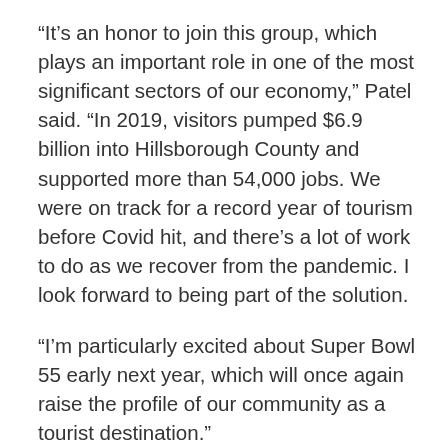“It’s an honor to join this group, which plays an important role in one of the most significant sectors of our economy,” Patel said. “In 2019, visitors pumped $6.9 billion into Hillsborough County and supported more than 54,000 jobs. We were on track for a record year of tourism before Covid hit, and there’s a lot of work to do as we recover from the pandemic. I look forward to being part of the solution.
“I’m particularly excited about Super Bowl 55 early next year, which will once again raise the profile of our community as a tourist destination.”
Patel’s experience in the hospitality industry dates back to 2009 when he